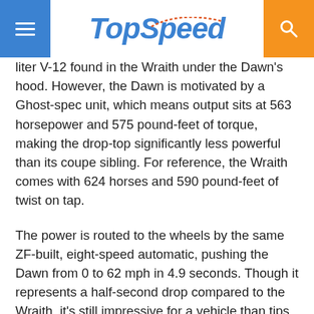TopSpeed
liter V-12 found in the Wraith under the Dawn's hood. However, the Dawn is motivated by a Ghost-spec unit, which means output sits at 563 horsepower and 575 pound-feet of torque, making the drop-top significantly less powerful than its coupe sibling. For reference, the Wraith comes with 624 horses and 590 pound-feet of twist on tap.
The power is routed to the wheels by the same ZF-built, eight-speed automatic, pushing the Dawn from 0 to 62 mph in 4.9 seconds. Though it represents a half-second drop compared to the Wraith, it's still impressive for a vehicle than tips the scales at 5,644 pounds. As usual, top speed is electronically limited at 155 mph.